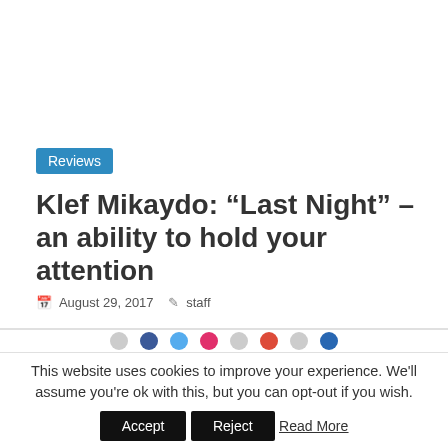Reviews
Klef Mikaydo: “Last Night” – an ability to hold your attention
August 29, 2017  staff
This website uses cookies to improve your experience. We'll assume you're ok with this, but you can opt-out if you wish.
Accept   Reject   Read More